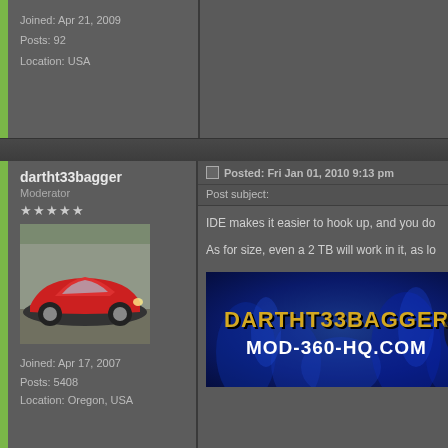Joined: Apr 21, 2009
Posts: 92
Location: USA
dartht33bagger
Moderator
★★★★★
Joined: Apr 17, 2007
Posts: 5408
Location: Oregon, USA
Posted: Fri Jan 01, 2010 9:13 pm
Post subject:
IDE makes it easier to hook up, and you do...
As for size, even a 2 TB will work in it, as lo...
[Figure (photo): Red sports car (Camaro) in parking lot]
[Figure (illustration): DARTHT33BAGGER MOD-360-HQ.COM signature banner with blue flame background]
[Figure (screenshot): PROFILE button]
[Figure (screenshot): PM button]
forahobby
Administrator
Posted: Sat Jan 02, 2010 9:35 am
Post subject: